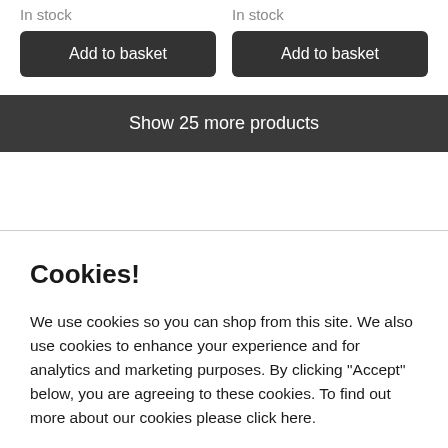In stock
In stock
Add to basket
Add to basket
Show 25 more products
Cookies!
We use cookies so you can shop from this site. We also use cookies to enhance your experience and for analytics and marketing purposes. By clicking "Accept" below, you are agreeing to these cookies. To find out more about our cookies please click here.
Accept
Decline